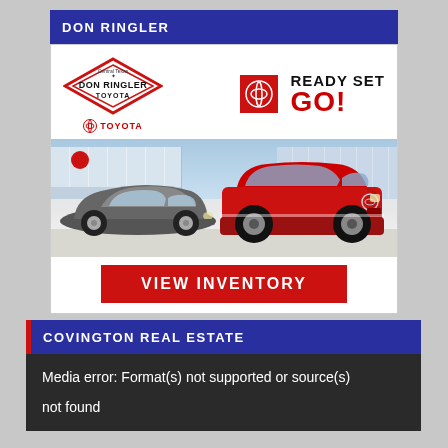DON RINGLER
[Figure (illustration): Don Ringler Toyota advertisement with diamond logo, Toyota circle logo, 'READY SET GO!' text, two cars (grey sedan and red SUV) in front of dealership, and a red 'VIEW INVENTORY' button]
COVINGTON REAL ESTATE
Media error: Format(s) not supported or source(s) not found